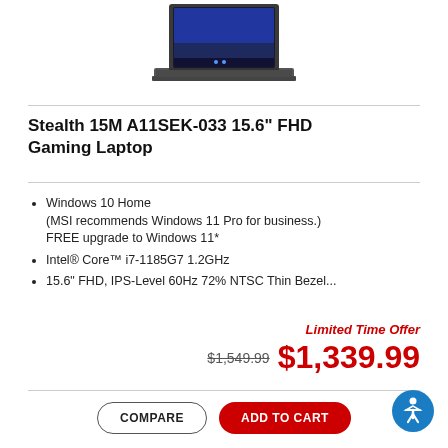[Figure (photo): MSI Stealth 15M laptop from top-front angle showing Windows 11 desktop on screen, dark gray body]
Stealth 15M A11SEK-033 15.6" FHD Gaming Laptop
Windows 10 Home [MSI recommends Windows 11 Pro for business.] FREE upgrade to Windows 11*
Intel® Core™ i7-1185G7 1.2GHz
15.6" FHD, IPS-Level 60Hz 72% NTSC Thin Bezel...
Limited Time Offer
$1,549.99 $1,339.99